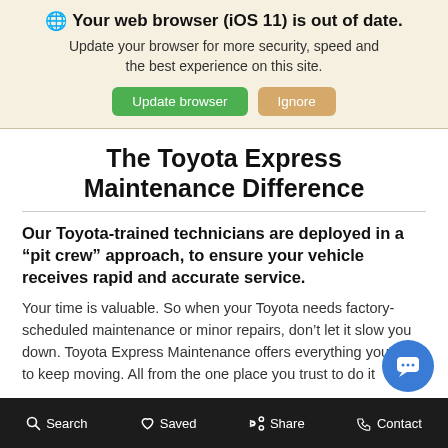[Figure (screenshot): Browser out-of-date warning banner with globe icon, bold title, subtitle text, and two buttons: green 'Update browser' and tan 'Ignore']
The Toyota Express Maintenance Difference
Our Toyota-trained technicians are deployed in a “pit crew” approach, to ensure your vehicle receives rapid and accurate service.
Your time is valuable. So when your Toyota needs factory-scheduled maintenance or minor repairs, don’t let it slow you down. Toyota Express Maintenance offers everything you need to keep moving. All from the one place you trust to do it
Search   Saved   Share   Contact